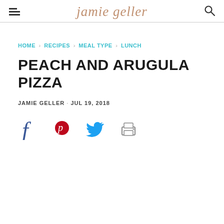jamie geller
HOME > RECIPES > MEAL TYPE > LUNCH
PEACH AND ARUGULA PIZZA
JAMIE GELLER · JUL 19, 2018
[Figure (other): Social share icons: Facebook, Pinterest, Twitter, Print]